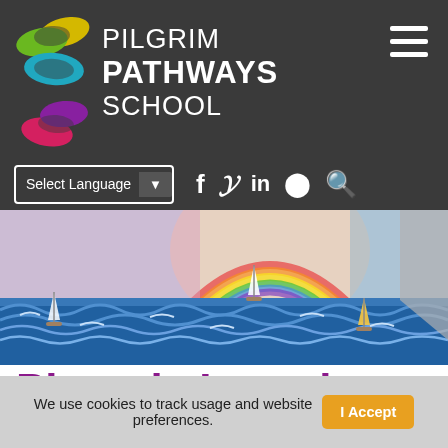[Figure (logo): Pilgrim Pathways School logo with colorful overlapping oval shapes (yellow, green, teal, red, purple) and school name text]
[Figure (screenshot): Navigation bar with Select Language dropdown and social media icons: Facebook, Twitter, LinkedIn, Instagram, Search]
[Figure (photo): Colorful painting of sailboats on ocean waves with a rainbow/sunset in the background]
Phoenix Learning
We use cookies to track usage and website preferences.
I Accept